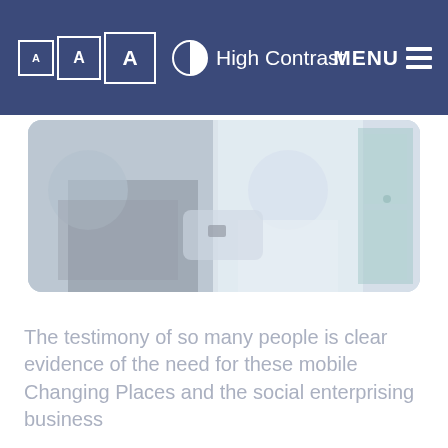A  A  A  High Contrast  MENU
[Figure (photo): Two people, one appearing to assist the other, photographed in a vehicle or mobile facility setting with a teal/aqua door visible in the background. The image is slightly faded/washed out.]
The testimony of so many people is clear evidence of the need for these mobile Changing Places and the social enterprising business